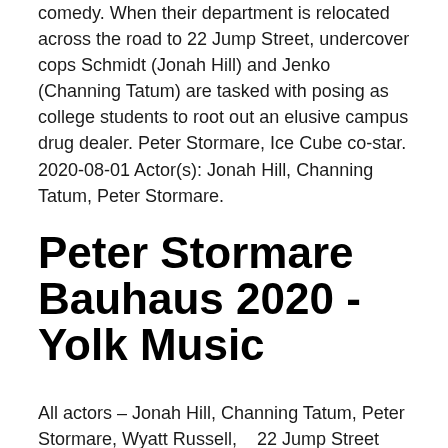comedy. When their department is relocated across the road to 22 Jump Street, undercover cops Schmidt (Jonah Hill) and Jenko (Channing Tatum) are tasked with posing as college students to root out an elusive campus drug dealer. Peter Stormare, Ice Cube co-star. 2020-08-01 Actor(s): Jonah Hill, Channing Tatum, Peter Stormare.
Peter Stormare Bauhaus 2020 - Yolk Music
All actors – Jonah Hill, Channing Tatum, Peter Stormare, Wyatt Russell,   22 Jump Street (2014)